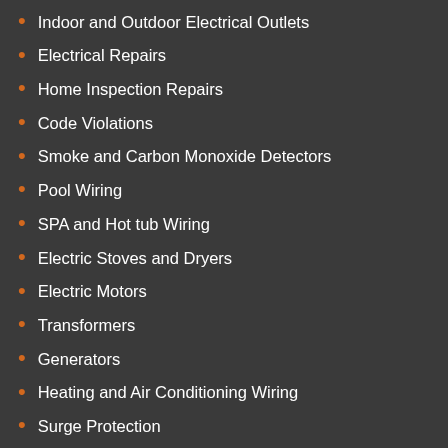Indoor and Outdoor Electrical Outlets
Electrical Repairs
Home Inspection Repairs
Code Violations
Smoke and Carbon Monoxide Detectors
Pool Wiring
SPA and Hot tub Wiring
Electric Stoves and Dryers
Electric Motors
Transformers
Generators
Heating and Air Conditioning Wiring
Surge Protection
Computer Wiring
Telephone and cable TV wiring